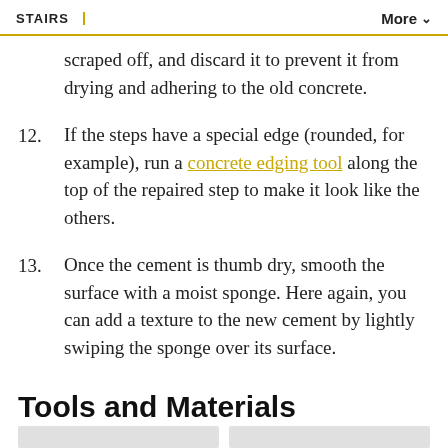STAIRS   More
scraped off, and discard it to prevent it from drying and adhering to the old concrete.
12. If the steps have a special edge (rounded, for example), run a concrete edging tool along the top of the repaired step to make it look like the others.
13. Once the cement is thumb dry, smooth the surface with a moist sponge. Here again, you can add a texture to the new cement by lightly swiping the sponge over its surface.
Tools and Materials